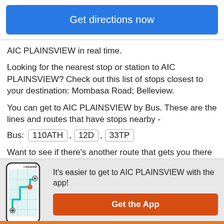Get directions now
AIC PLAINSVIEW in real time.
Looking for the nearest stop or station to AIC PLAINSVIEW? Check out this list of stops closest to your destination: Mombasa Road; Belleview.
You can get to AIC PLAINSVIEW by Bus. These are the lines and routes that have stops nearby -
Bus: 110ATH , 12D , 33TP
Want to see if there’s another route that gets you there at an earlier time? Moovit helps you find alternative routes or times. Get directions from and directions to
It's easier to get to AIC PLAINSVIEW with the app!
Get the App